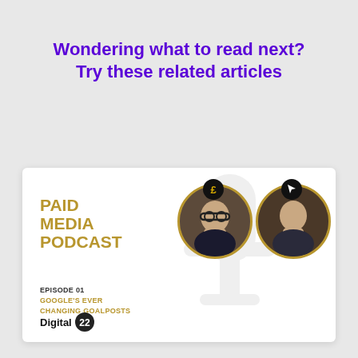Wondering what to read next? Try these related articles
[Figure (illustration): Paid Media Podcast Episode 01 card showing two circular portrait photos of hosts, a microphone watermark, gold pound sign badge and cursor badge icons, episode title 'Google's Ever Changing Goalposts', and Digital 22 logo at bottom left.]